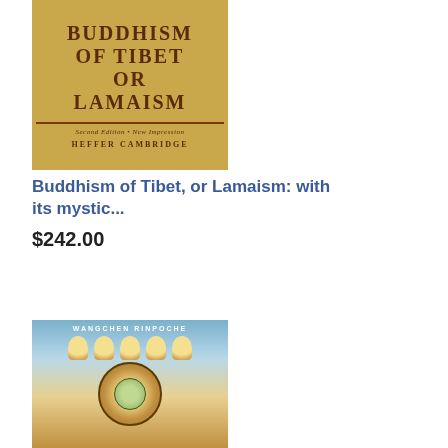[Figure (photo): Book cover of 'Buddhism of Tibet, or Lamaism' showing a gold/yellow cover with bold title text, 'Second Edition • New Impression', and publisher 'Heffer Cambridge']
Buddhism of Tibet, or Lamaism: with its mystic...
$242.00
Add to cart
[Figure (photo): Book cover by Wangchen Rinpoche featuring a Tibetan Buddhist illustration with seated Buddha figures at top and a mandala/deity figure below on a blue and gold background]